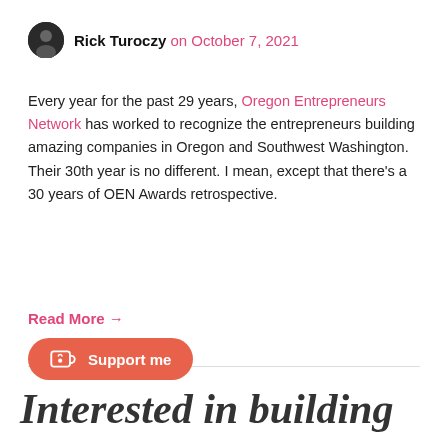Rick Turoczy on October 7, 2021
Every year for the past 29 years, Oregon Entrepreneurs Network has worked to recognize the entrepreneurs building amazing companies in Oregon and Southwest Washington. Their 30th year is no different. I mean, except that there's a 30 years of OEN Awards retrospective.
Read More →
Interested in building an online community that people will love?